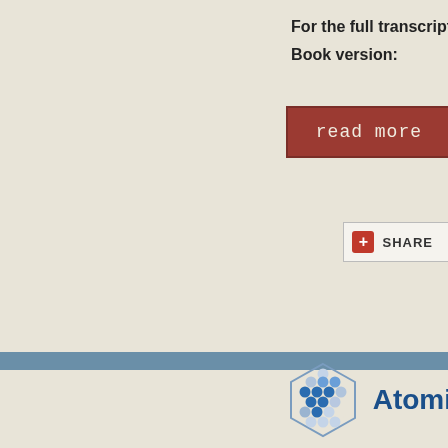For the full transcript
Book version:
[Figure (screenshot): Red 'read more' button with monospace text]
[Figure (screenshot): Share button with red plus icon and SHARE text]
[Figure (logo): Atomic logo with hexagonal grid icon and 'Atomi' text in blue]